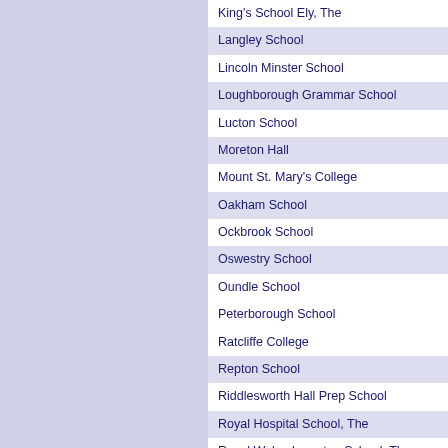King's School Ely, The
Langley School
Lincoln Minster School
Loughborough Grammar School
Lucton School
Moreton Hall
Mount St. Mary's College
Oakham School
Ockbrook School
Oswestry School
Oundle School
Peterborough School
Ratcliffe College
Repton School
Riddlesworth Hall Prep School
Royal Hospital School, The
Royal Wolverhampton School, The
Saint Felix School
St Dominic's Brewood
St. Dominic's Priory School